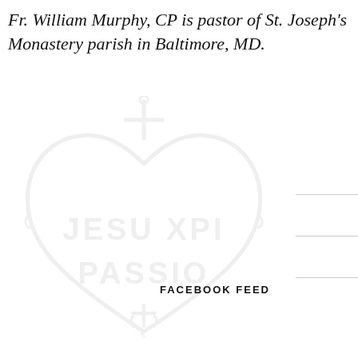Fr. William Murphy, CP is pastor of St. Joseph's Monastery parish in Baltimore, MD.
[Figure (logo): Passionist heart logo watermark — a heart shape with cross and anchor symbol, text reading JESU XPI and PASSIO inside]
FACEBOOK FEED